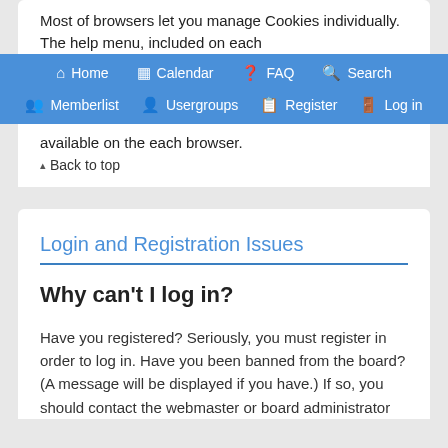Most of browsers let you manage Cookies individually. The help menu, included on each
Home  Calendar  FAQ  Search  Memberlist  Usergroups  Register  Log in
available on the each browser.
Back to top
Login and Registration Issues
Why can't I log in?
Have you registered? Seriously, you must register in order to log in. Have you been banned from the board? (A message will be displayed if you have.) If so, you should contact the webmaster or board administrator to find out why you have been registered and